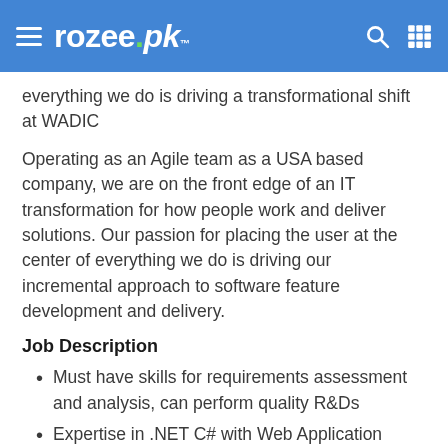rozee.pk
everything we do is driving a transformational shift at WADIC
Operating as an Agile team as a USA based company, we are on the front edge of an IT transformation for how people work and deliver solutions. Our passion for placing the user at the center of everything we do is driving our incremental approach to software feature development and delivery.
Job Description
Must have skills for requirements assessment and analysis, can perform quality R&Ds
Expertise in .NET C# with Web Application Development
Experience in relevant frameworks or